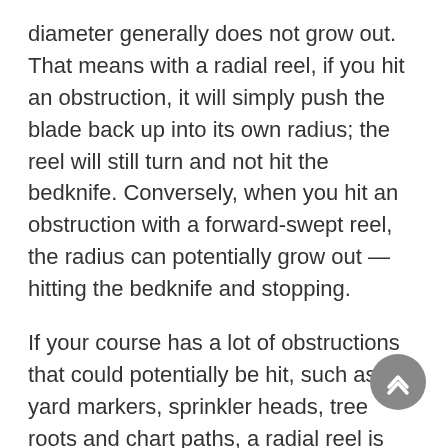diameter generally does not grow out. That means with a radial reel, if you hit an obstruction, it will simply push the blade back up into its own radius; the reel will still turn and not hit the bedknife. Conversely, when you hit an obstruction with a forward-swept reel, the radius can potentially grow out — hitting the bedknife and stopping.
If your course has a lot of obstructions that could potentially be hit, such as yard markers, sprinkler heads, tree roots and chart paths, a radial reel is recommended. If impact hits are not as much of an issue, forward-swept reels offer a slightly more aggressive cut (lower effective HOC) than radial reels and can producer a cleaner cut in warm-season grasses, especially at lower heights of cuts. Another advantage of forward-swept reels is that they can generally hold their cutting edge slightly longer than radial reels, due to creating a slightly sharper cutting